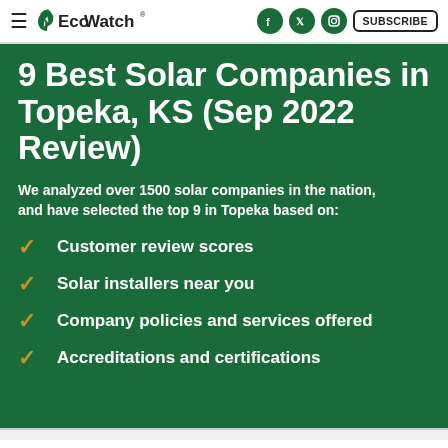EcoWatch — SUBSCRIBE
9 Best Solar Companies in Topeka, KS (Sep 2022 Review)
We analyzed over 1500 solar companies in the nation, and have selected the top 9 in Topeka based on:
Customer review scores
Solar installers near you
Company policies and services offered
Accreditations and certifications